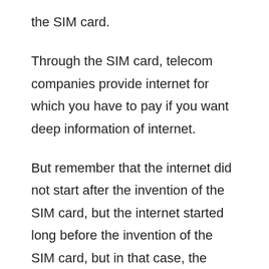the SIM card.
Through the SIM card, telecom companies provide internet for which you have to pay if you want deep information of internet.
But remember that the internet did not start after the invention of the SIM card, but the internet started long before the invention of the SIM card, but in that case, the internet connection could not be accessed by everyone because there was no specific equipment for the connection of the internet at that time.
But along with the invention of SIM card, there were many more technical invention which changed the world